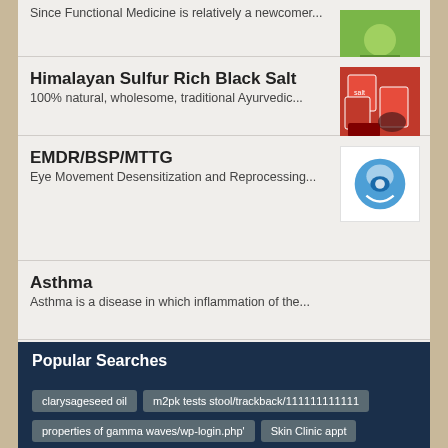Since Functional Medicine is relatively a newcomer...
Himalayan Sulfur Rich Black Salt
100% natural, wholesome, traditional Ayurvedic...
EMDR/BSP/MTTG
Eye Movement Desensitization and Reprocessing...
Asthma
Asthma is a disease in which inflammation of the...
The Raw Food Diet
Dr. T Talks for 3 minutes about the Raw Food Diet....
Popular Searches
clarysageseed oil
m2pk tests stool/trackback/111111111111
properties of gamma waves/wp-login.php'
Skin Clinic appt